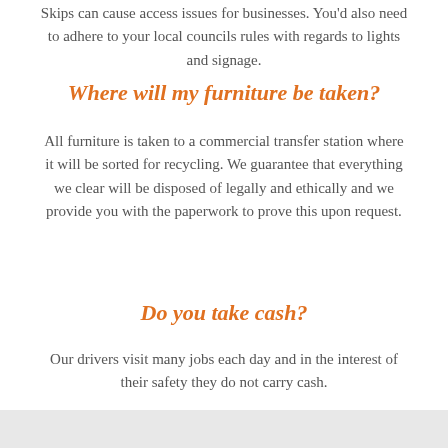Skips can cause access issues for businesses. You'd also need to adhere to your local councils rules with regards to lights and signage.
Where will my furniture be taken?
All furniture is taken to a commercial transfer station where it will be sorted for recycling. We guarantee that everything we clear will be disposed of legally and ethically and we provide you with the paperwork to prove this upon request.
Do you take cash?
Our drivers visit many jobs each day and in the interest of their safety they do not carry cash.